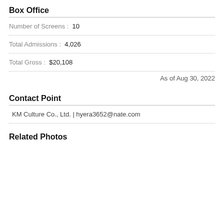Box Office
Number of Screens :  10
Total Admissions :  4,026
Total Gross :  $20,108
As of Aug 30, 2022
Contact Point
KM Culture Co., Ltd. | hyera3652@nate.com
Related Photos